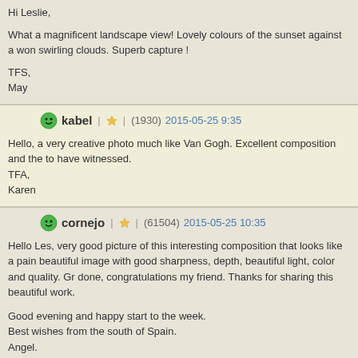Hi Leslie,

What a magnificent landscape view! Lovely colours of the sunset against a won swirling clouds. Superb capture !

TFS,
May
kabel | (1930) 2015-05-25 9:35
Hello, a very creative photo much like Van Gogh. Excellent composition and the to have witnessed.
TFA,
Karen
cornejo | (61504) 2015-05-25 10:35
Hello Les, very good picture of this interesting composition that looks like a pain beautiful image with good sharpness, depth, beautiful light, color and quality. Gr done, congratulations my friend. Thanks for sharing this beautiful work.

Good evening and happy start to the week.
Best wishes from the south of Spain.
Angel.